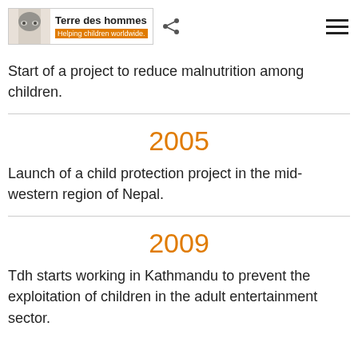[Figure (logo): Terre des hommes logo with child face silhouette and tagline 'Helping children worldwide.' with share icon and hamburger menu]
Start of a project to reduce malnutrition among children.
2005
Launch of a child protection project in the mid-western region of Nepal.
2009
Tdh starts working in Kathmandu to prevent the exploitation of children in the adult entertainment sector.